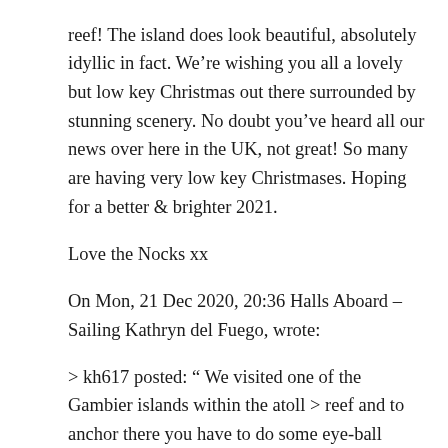reef! The island does look beautiful, absolutely idyllic in fact. We're wishing you all a lovely but low key Christmas out there surrounded by stunning scenery. No doubt you've heard all our news over here in the UK, not great! So many are having very low key Christmases. Hoping for a better & brighter 2021.
Love the Nocks xx
On Mon, 21 Dec 2020, 20:36 Halls Aboard – Sailing Kathryn del Fuego, wrote:
> kh617 posted: " We visited one of the Gambier islands within the atoll > reef and to anchor there you have to do some eye-ball navigation through >